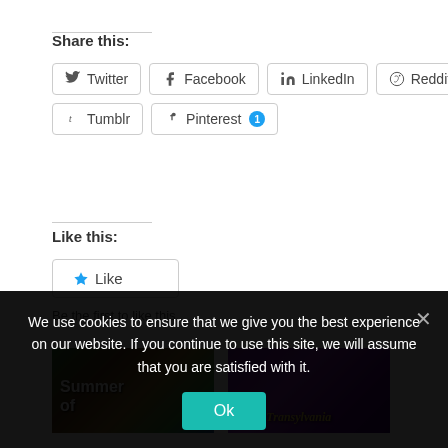Share this:
Twitter
Facebook
LinkedIn
Reddit
Tumblr
Pinterest 1
Like this:
Like
Be the first to like this.
[Figure (photo): Summer of [text on dark background with colorful people]]
[Figure (photo): Hotel Transylvania animated movie poster on purple background]
We use cookies to ensure that we give you the best experience on our website. If you continue to use this site, we will assume that you are satisfied with it.